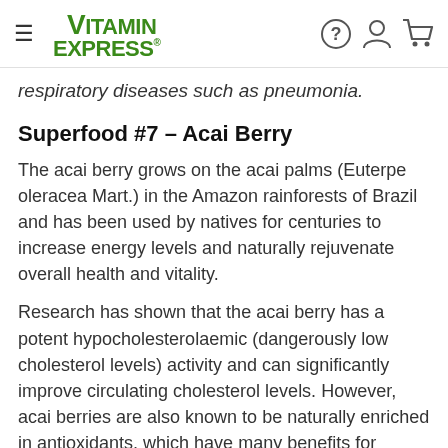Vitamin Express
respiratory diseases such as pneumonia.
Superfood #7 – Acai Berry
The acai berry grows on the acai palms (Euterpe oleracea Mart.) in the Amazon rainforests of Brazil and has been used by natives for centuries to increase energy levels and naturally rejuvenate overall health and vitality.
Research has shown that the acai berry has a potent hypocholesterolaemic (dangerously low cholesterol levels) activity and can significantly improve circulating cholesterol levels. However, acai berries are also known to be naturally enriched in antioxidants, which have many benefits for overall health.